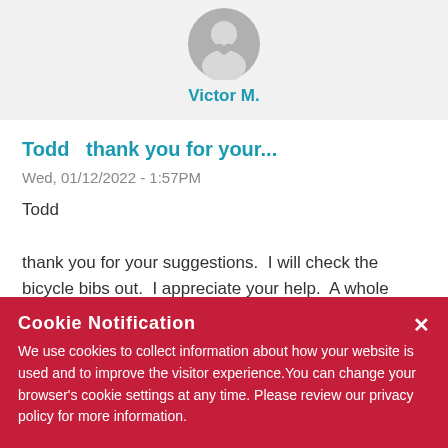[Figure (illustration): Gray circular avatar icon with a small heart shape, representing a user profile photo]
Victor M.
Todd   thank you for your...
Wed, 01/12/2022 - 1:57PM
Todd
thank you for your suggestions.  I will check the bicycle bibs out.  I appreciate your help.  A whole
ne shirts.
Cookie Notification
We use cookies to collect information about how your website is used and to improve the visitor experience.You can change your browser's cookie settings at any time. Please review our privacy policy for more information.